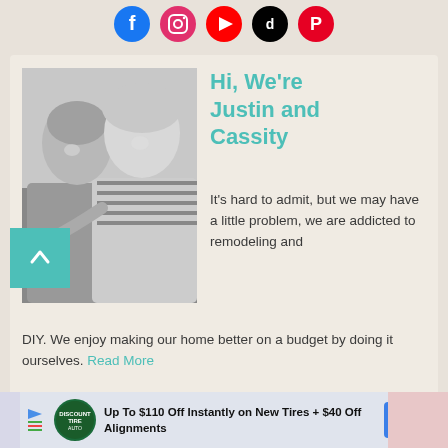[Figure (illustration): Row of five social media icon circles: Facebook (blue), Instagram (pink/red gradient), YouTube (red), TikTok (black), Pinterest (red)]
Hi, We're Justin and Cassity
[Figure (photo): Black and white portrait photo of a couple smiling, man on left and woman on right]
It's hard to admit, but we may have a little problem, we are addicted to remodeling and DIY. We enjoy making our home better on a budget by doing it ourselves. Read More
[Figure (infographic): Advertisement banner: Up To $110 Off Instantly on New Tires + $40 Off Alignments with Discount Tire Auto logo and navigation arrow icon]